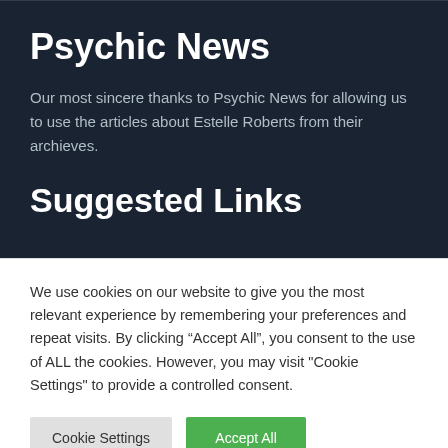Psychic News
Our most sincere thanks to Psychic News for allowing us to use the articles about Estelle Roberts from their archieves.
Suggested Links
We use cookies on our website to give you the most relevant experience by remembering your preferences and repeat visits. By clicking “Accept All”, you consent to the use of ALL the cookies. However, you may visit "Cookie Settings" to provide a controlled consent.